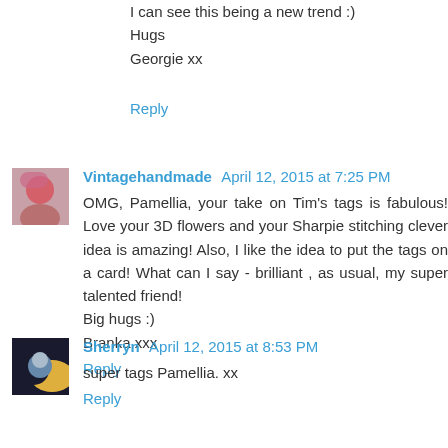I can see this being a new trend :)
Hugs
Georgie xx
Reply
Vintagehandmade  April 12, 2015 at 7:25 PM
OMG, Pamellia, your take on Tim's tags is fabulous! Love your 3D flowers and your Sharpie stitching clever idea is amazing! Also, I like the idea to put the tags on a card! What can I say - brilliant , as usual, my super talented friend!
Big hugs :)
Branka xxx
Reply
Sherryn  April 12, 2015 at 8:53 PM
super tags Pamellia. xx
Reply